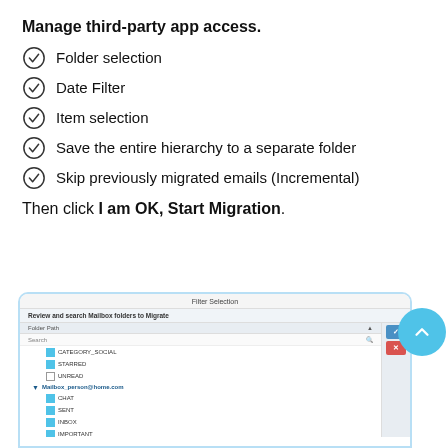Manage third-party app access.
Folder selection
Date Filter
Item selection
Save the entire hierarchy to a separate folder
Skip previously migrated emails (Incremental)
Then click I am OK, Start Migration.
[Figure (screenshot): Screenshot of Filter Selection dialog showing mailbox folder tree with checkboxes for CATEGORY_SOCIAL, STARRED, UNREAD, Mailbox, CHAT, SENT, INBOX, IMPORTANT, TRASH, DRAFT items and navigation buttons]